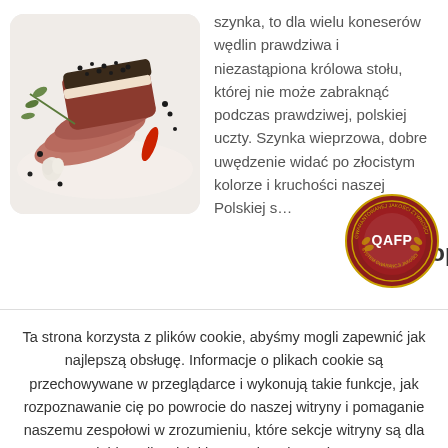[Figure (photo): Sliced smoked ham/meat with black pepper crust, herbs, garlic and spices on white background]
szynka, to dla wielu koneserów wędlin prawdziwa i niezastąpiona królowa stołu, której nie może zabraknąć podczas prawdziwej, polskiej uczty. Szynka wieprzowa, dobre uwędzenie widać po złocistym kolorze i kruchości naszej Polskiej s...
Propozycje
[Figure (logo): QAFP quality assurance red circular badge/seal logo]
Ta strona korzysta z plików cookie, abyśmy mogli zapewnić jak najlepszą obsługę. Informacje o plikach cookie są przechowywane w przeglądarce i wykonują takie funkcje, jak rozpoznawanie cię po powrocie do naszej witryny i pomaganie naszemu zespołowi w zrozumieniu, które sekcje witryny są dla Ciebie najbardziej interesujące i przydatne.